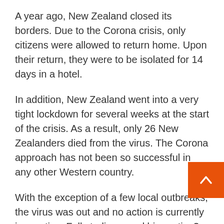A year ago, New Zealand closed its borders. Due to the Corona crisis, only citizens were allowed to return home. Upon their return, they were to be isolated for 14 days in a hotel.
In addition, New Zealand went into a very tight lockdown for several weeks at the start of the crisis. As a result, only 26 New Zealanders died from the virus. The Corona approach has not been so successful in any other Western country.
With the exception of a few local outbreaks, the virus was out and no action is currently in practice. Full stadiums and big parties? These are the order of the day.
The travel bubble is greeted with loud applause,